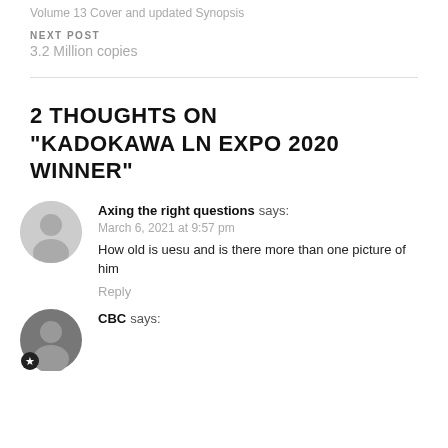Volume 13 Cover and updated Synopsis
NEXT POST
3.2 Million copies
2 THOUGHTS ON “KADOKAWA LN EXPO 2020 WINNER”
Axing the right questions says:
March 6, 2021 at 9:57 pm
How old is uesu and is there more than one picture of him
Reply
CBC says: